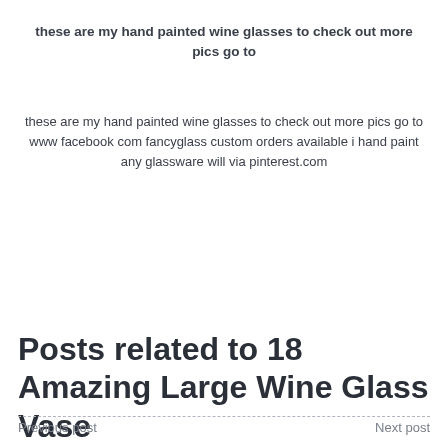these are my hand painted wine glasses to check out more pics go to
these are my hand painted wine glasses to check out more pics go to www facebook com fancyglass custom orders available i hand paint any glassware will via pinterest.com
Posts related to 18 Amazing Large Wine Glass Vase
Previous post    Next post